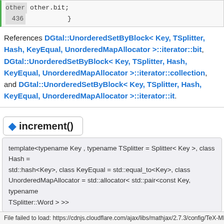other.bit;
436        }
References DGtal::UnorderedSetByBlock< Key, TSplitter, Hash, KeyEqual, UnorderedMapAllocator >::iterator::bit, DGtal::UnorderedSetByBlock< Key, TSplitter, Hash, KeyEqual, UnorderedMapAllocator >::iterator::collection, and DGtal::UnorderedSetByBlock< Key, TSplitter, Hash, KeyEqual, UnorderedMapAllocator >::iterator::it.
increment()
template<typename Key , typename TSplitter = Splitter< Key >, class Hash = std::hash<Key>, class KeyEqual = std::equal_to<Key>, class UnorderedMapAllocator = std::allocator< std::pair<const Key, typename TSplitter::Word > >>
void DGtal::UnorderedSetByBlock< Key, TSplitter, Hash, KeyEqual,
File failed to load: https://cdnjs.cloudflare.com/ajax/libs/mathjax/2.7.3/config/TeX-MML-A